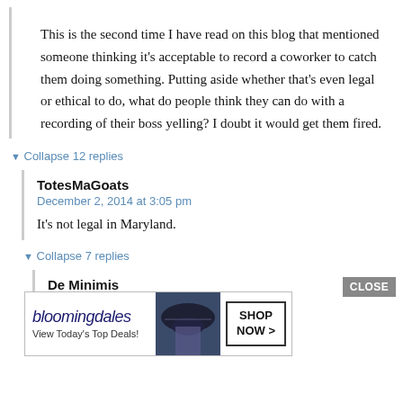This is the second time I have read on this blog that mentioned someone thinking it's acceptable to record a coworker to catch them doing something. Putting aside whether that's even legal or ethical to do, what do people think they can do with a recording of their boss yelling? I doubt it would get them fired.
▼ Collapse 12 replies
TotesMaGoats
December 2, 2014 at 3:05 pm
It's not legal in Maryland.
▼ Collapse 7 replies
De Minimis
[Figure (screenshot): Bloomingdale's advertisement banner: bloomingdales logo, 'View Today's Top Deals!' text, image of woman with hat, 'SHOP NOW >' button]